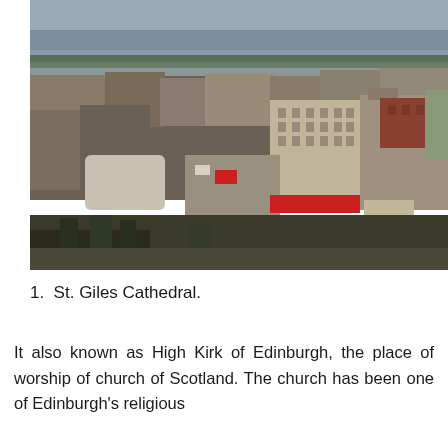[Figure (photo): Aerial/elevated panoramic photograph of Edinburgh city centre showing historic buildings, rooftops, streets with vehicles, and a distant horizon with water and hills under an overcast sky.]
1.  St. Giles Cathedral.
It also known as High Kirk of Edinburgh, the place of worship of church of Scotland. The church has been one of Edinburgh's religious